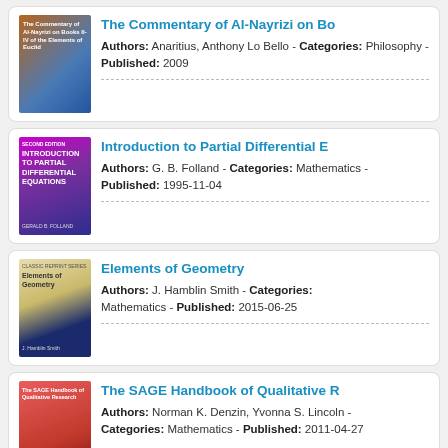[Figure (illustration): Book cover for The Commentary of Al-Nayrizi on Books II-IV of the Elements of Euclid]
The Commentary of Al-Nayrizi on Bo
Authors: Anaritius, Anthony Lo Bello - Categories: Philosophy - Published: 2009
[Figure (illustration): Book cover for Introduction to Partial Differential Equations, Second Edition by Gerald B. Folland]
Introduction to Partial Differential E
Authors: G. B. Folland - Categories: Mathematics - Published: 1995-11-04
[Figure (illustration): Book cover for Elements of Geometry by J. Hamblin Smith]
Elements of Geometry
Authors: J. Hamblin Smith - Categories: Mathematics - Published: 2015-06-25
[Figure (illustration): Book cover for The SAGE Handbook of Qualitative Research]
The SAGE Handbook of Qualitative R
Authors: Norman K. Denzin, Yvonna S. Lincoln - Categories: Mathematics - Published: 2011-04-27